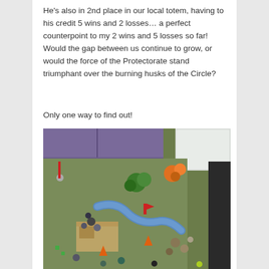He's also in 2nd place in our local totem, having to his credit 5 wins and 2 losses… a perfect counterpoint to my 2 wins and 5 losses so far! Would the gap between us continue to grow, or would the force of the Protectorate stand triumphant over the burning husks of the Circle?
Only one way to find out!
[Figure (photo): Overhead photo of a miniature wargame in progress on a green game table, showing painted miniature figures, terrain pieces including a river, trees, orange flame markers, and a sandstone-colored building ruin. A purple sofa is visible in the background, and a white storage container and dark furniture leg are on the right side.]